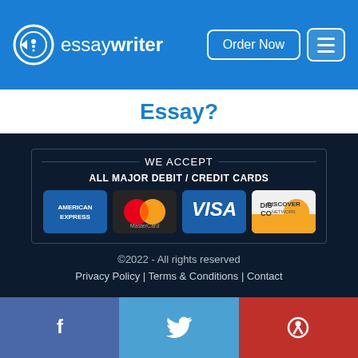essaywriter — Order Now
Essay?
[Figure (infographic): Payment methods section showing WE ACCEPT ALL MAJOR DEBIT / CREDIT CARDS with logos for American Express, MasterCard, Visa, and Discover Network]
©2022 - All rights reserved
Privacy Policy | Terms & Conditions | Contact
[Figure (infographic): Social media share bar with Facebook, Twitter, and Pinterest icons]